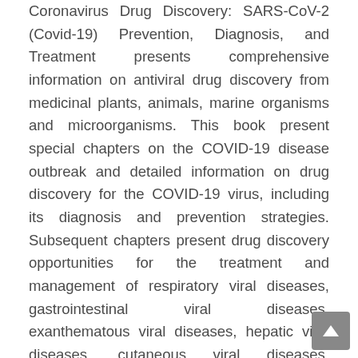Coronavirus Drug Discovery: SARS-CoV-2 (Covid-19) Prevention, Diagnosis, and Treatment presents comprehensive information on antiviral drug discovery from medicinal plants, animals, marine organisms and microorganisms. This book present special chapters on the COVID-19 disease outbreak and detailed information on drug discovery for the COVID-19 virus, including its diagnosis and prevention strategies. Subsequent chapters present drug discovery opportunities for the treatment and management of respiratory viral diseases, gastrointestinal viral diseases, exanthematous viral diseases, hepatic viral diseases, cutaneous viral diseases, hemorrhagic viral diseases and neurologic viral diseases. The book's contributors are specialists from key institutions around the world, making this a key resource for drug developers, medicinal chemists, public health scientists, molecular biologists, biochemists, and toxicologists, among others. Details the various natural bioactive compounds for antiviral drug discoveries surrounding treatments for